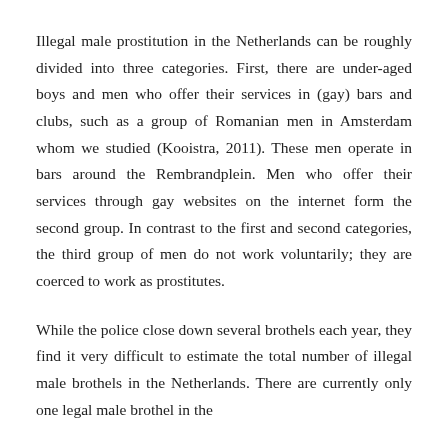Illegal male prostitution in the Netherlands can be roughly divided into three categories. First, there are under-aged boys and men who offer their services in (gay) bars and clubs, such as a group of Romanian men in Amsterdam whom we studied (Kooistra, 2011). These men operate in bars around the Rembrandplein. Men who offer their services through gay websites on the internet form the second group. In contrast to the first and second categories, the third group of men do not work voluntarily; they are coerced to work as prostitutes.
While the police close down several brothels each year, they find it very difficult to estimate the total number of illegal male brothels in the Netherlands. There is currently only one legal male brothel in the